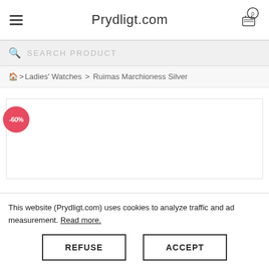Prydligt.com
SEARCH PRODUCT
🏠 > Ladies' Watches > Ruimas Marchioness Silver
[Figure (other): Product image area with -60% discount badge in red circle]
This website (Prydligt.com) uses cookies to analyze traffic and ad measurement. Read more.
REFUSE
ACCEPT